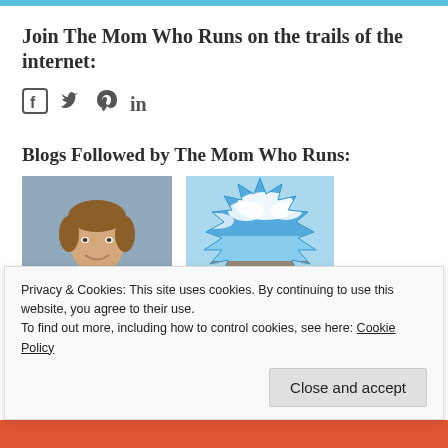Join The Mom Who Runs on the trails of the internet:
[Figure (infographic): Social media icons: Facebook, Twitter, Pinterest, LinkedIn]
Blogs Followed by The Mom Who Runs:
[Figure (photo): Headshot of a smiling man with brown hair against a grey background]
[Figure (photo): Starburst-shaped image of a blue sky with clouds over a rocky surface]
Privacy & Cookies: This site uses cookies. By continuing to use this website, you agree to their use.
To find out more, including how to control cookies, see here: Cookie Policy
Close and accept